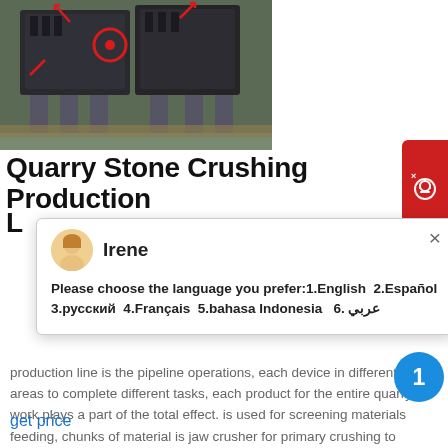[Figure (photo): Photo of large quarry stone crushing machinery (industrial crushers) on a construction/quarry site, with red circle and arrow annotations on the equipment.]
Quarry Stone Crushing Production Line
[Figure (screenshot): Chat popup from 'Irene' asking user to choose language: 1.English 2.Español 3.русский 4.Français 5.bahasa Indonesia 6. عربي]
production line is the pipeline operations, each device in different areas to complete different tasks, each product for the entire quarry work plays a part of the total effect. is used for screening materials feeding, chunks of material is jaw crusher for primary crushing to meet subsequent crushing
get price